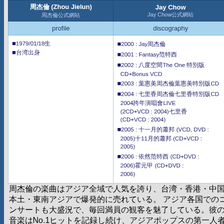| 周杰倫 (Zhou Jielun)
周杰倫公式網站 | Jay Chow
Jay Chow公式網站 |
| --- | --- |
| profile | discography |
| ■1979/01/18生
■台湾出身 | ■2000 : Jay周杰倫
■2001 : Fantasy范特西
■2002 : 八度空間The One 特別版CD+Bonus VCD
■2003 : 葉惠美周杰倫葉惠美特別版CD
■2004 : 七里香周杰倫七里香特別版CD 2004跨年演唱會LIVE (2CD+VCD : 2004)七里香 (CD+VCD : 2004)
■2005 : 十一月的蕭邦 (VCD, DVD : 2005)十11月的蕭邦 (CD+VCD : 2005)
■2006 : 依然范特西 (CD+DVD : 2006)霍元甲 (CD+DVD : 2006) |
| [footer text in Japanese characters] |  |